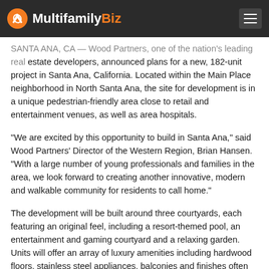MultifamilyBiz
SANTA ANA, CA — Wood Partners, one of the nation's leading real estate developers, announced plans for a new, 182-unit project in Santa Ana, California. Located within the Main Place neighborhood in North Santa Ana, the site for development is in a unique pedestrian-friendly area close to retail and entertainment venues, as well as area hospitals.
“We are excited by this opportunity to build in Santa Ana,” said Wood Partners’ Director of the Western Region, Brian Hansen. “With a large number of young professionals and families in the area, we look forward to creating another innovative, modern and walkable community for residents to call home.”
The development will be built around three courtyards, each featuring an original feel, including a resort-themed pool, an entertainment and gaming courtyard and a relaxing garden. Units will offer an array of luxury amenities including hardwood floors, stainless steel appliances, balconies and finishes often found in high-end condominiums. A variety of community spaces will also be included in